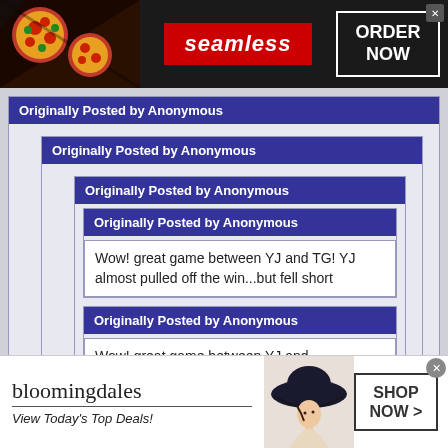[Figure (screenshot): Top advertisement banner for Seamless food delivery. Dark background with pizza image on left, red Seamless logo in center, and ORDER NOW button in white border box on right with close X button.]
Originally Posted by Anonymous
Originally Posted by Anonymous
Originally Posted by Anonymous
Originally Posted by Anonymous
Wow! great game between YJ and TG! YJ almost pulled off the win...but fell short
Originally Posted by Anonymous
Wow! great game between YJ and
[Figure (screenshot): Bottom advertisement banner for Bloomingdale's. White background with Bloomingdale's logo and 'View Today's Top Deals!' tagline on left, silhouette of woman in hat in center, and SHOP NOW > button in black border box on right with close X button.]